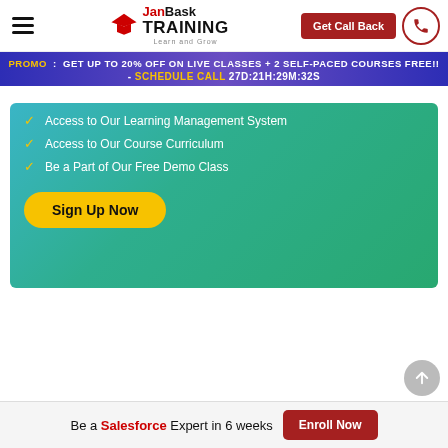JanBask Training - Learn and Grow | Get Call Back
PROMO : GET UP TO 20% OFF ON LIVE CLASSES + 2 SELF-PACED COURSES FREE!! - SCHEDULE CALL 27D:21H:29M:32S
Access to Our Learning Management System
Access to Our Course Curriculum
Be a Part of Our Free Demo Class
Sign Up Now
Be a Salesforce Expert in 6 weeks | Enroll Now